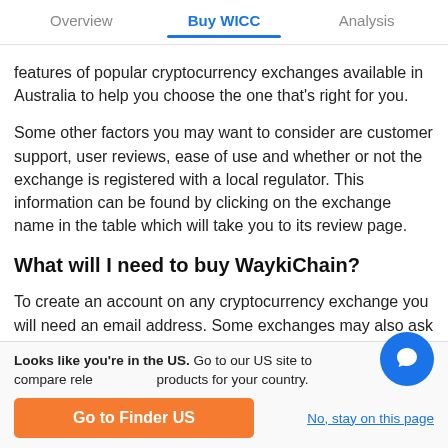Overview | Buy WICC | Analysis
features of popular cryptocurrency exchanges available in Australia to help you choose the one that's right for you.
Some other factors you may want to consider are customer support, user reviews, ease of use and whether or not the exchange is registered with a local regulator. This information can be found by clicking on the exchange name in the table which will take you to its review page.
What will I need to buy WaykiChain?
To create an account on any cryptocurrency exchange you will need an email address. Some exchanges may also ask for a phone number and photo ID, so it's a good idea to have
Looks like you're in the US. Go to our US site to compare relevant products for your country.
Go to Finder US
No, stay on this page